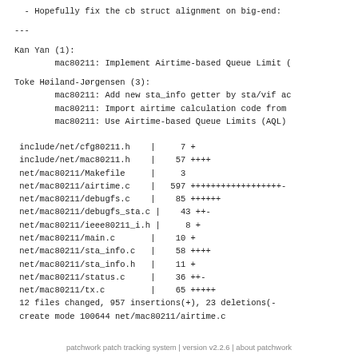- Hopefully fix the cb struct alignment on big-end:
---
Kan Yan (1):
        mac80211: Implement Airtime-based Queue Limit (
Toke Høiland-Jørgensen (3):
        mac80211: Add new sta_info getter by sta/vif ac
        mac80211: Import airtime calculation code from
        mac80211: Use Airtime-based Queue Limits (AQL)
include/net/cfg80211.h    |     7 +
 include/net/mac80211.h    |    57 ++++
 net/mac80211/Makefile     |     3
 net/mac80211/airtime.c    |   597 ++++++++++++++++++-
 net/mac80211/debugfs.c    |    85 ++++++
 net/mac80211/debugfs_sta.c |    43 ++-
 net/mac80211/ieee80211_i.h |     8 +
 net/mac80211/main.c       |    10 +
 net/mac80211/sta_info.c   |    58 ++++
 net/mac80211/sta_info.h   |    11 +
 net/mac80211/status.c     |    36 ++-
 net/mac80211/tx.c         |    65 +++++
 12 files changed, 957 insertions(+), 23 deletions(-
 create mode 100644 net/mac80211/airtime.c
patchwork patch tracking system | version v2.2.6 | about patchwork